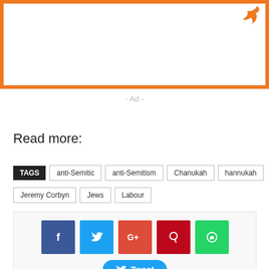[Figure (other): Orange bordered box with white interior and an orange logo/bird icon in the top right corner]
- Ad -
Read more:
TAGS  anti-Semitic  anti-Semitism  Chanukah  hannukah  Jeremy Corbyn  Jews  Labour
[Figure (other): Social sharing buttons: Facebook (blue), Twitter (light blue), Google+ (red-orange), Pinterest (dark red), WhatsApp (green), and a Tweet button]